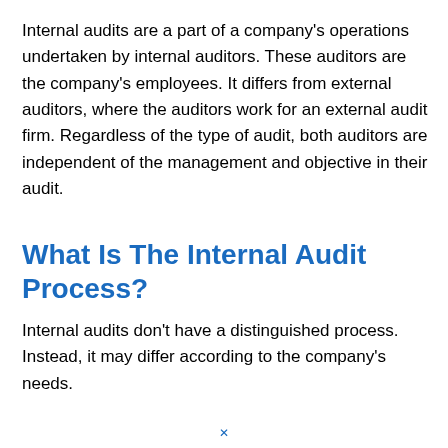Internal audits are a part of a company's operations undertaken by internal auditors. These auditors are the company's employees. It differs from external auditors, where the auditors work for an external audit firm. Regardless of the type of audit, both auditors are independent of the management and objective in their audit.
What Is The Internal Audit Process?
Internal audits don't have a distinguished process. Instead, it may differ according to the company's needs.